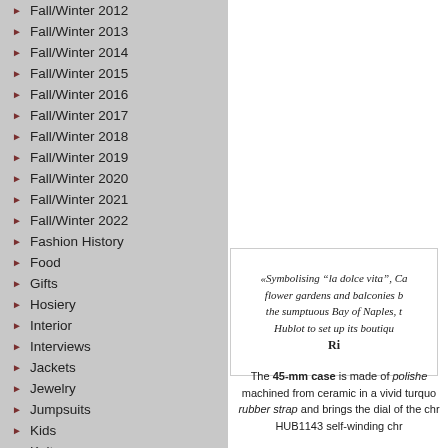Fall/Winter 2012
Fall/Winter 2013
Fall/Winter 2014
Fall/Winter 2015
Fall/Winter 2016
Fall/Winter 2017
Fall/Winter 2018
Fall/Winter 2019
Fall/Winter 2020
Fall/Winter 2021
Fall/Winter 2022
Fashion History
Food
Gifts
Hosiery
Interior
Interviews
Jackets
Jewelry
Jumpsuits
Kids
Knitwear
Lifestyle
«Symbolising "la dolce vita", Ca... flower gardens and balconies b... the sumptuous Bay of Naples, t... Hublot to set up its boutiqu... Ri...
The 45-mm case is made of polishe... machined from ceramic in a vivid turquo... rubber strap and brings the dial of the chr... HUB1143 self-winding chr...